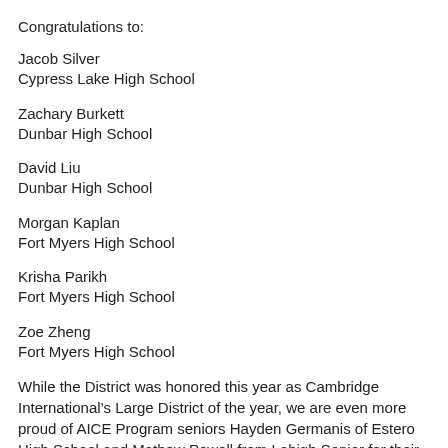Congratulations to:
Jacob Silver
Cypress Lake High School
Zachary Burkett
Dunbar High School
David Liu
Dunbar High School
Morgan Kaplan
Fort Myers High School
Krisha Parikh
Fort Myers High School
Zoe Zheng
Fort Myers High School
While the District was honored this year as Cambridge International's Large District of the year, we are even more proud of AICE Program seniors Hayden Germanis of Estero High School and Mathew Powell from Lehigh Senior for their national awards. Hayden won a “Top in Country” award for the best test score nationwide in Digital Media and Design